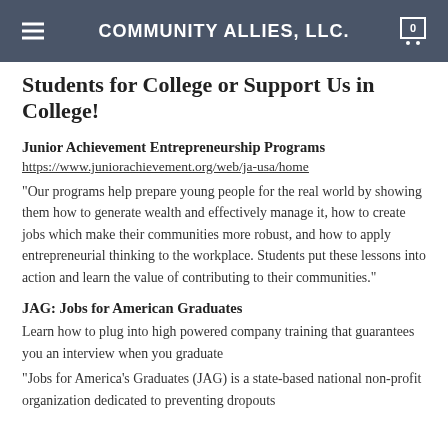COMMUNITY ALLIES, LLC.
Students for College or Support Us in College!
Junior Achievement Entrepreneurship Programs
https://www.juniorachievement.org/web/ja-usa/home
“Our programs help prepare young people for the real world by showing them how to generate wealth and effectively manage it, how to create jobs which make their communities more robust, and how to apply entrepreneurial thinking to the workplace. Students put these lessons into action and learn the value of contributing to their communities.”
JAG: Jobs for American Graduates
Learn how to plug into high powered company training that guarantees you an interview when you graduate
“Jobs for America’s Graduates (JAG) is a state-based national non-profit organization dedicated to preventing dropouts